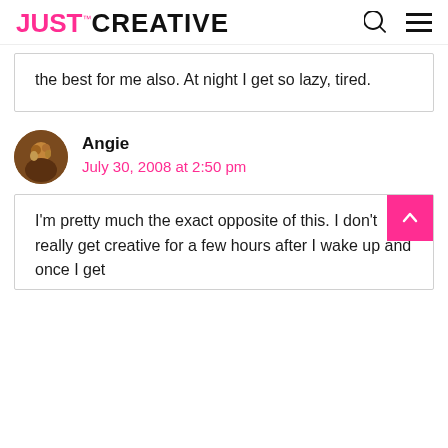JUST™CREATIVE
the best for me also. At night I get so lazy, tired.
Angie
July 30, 2008 at 2:50 pm
I'm pretty much the exact opposite of this. I don't really get creative for a few hours after I wake up and once I get